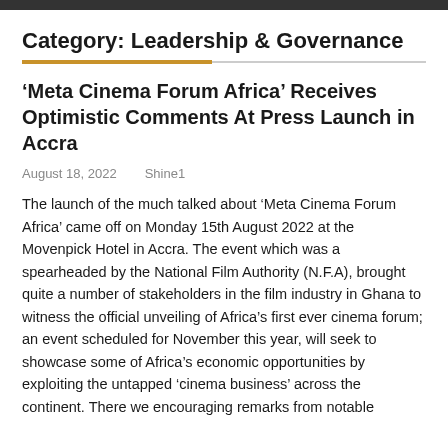Category: Leadership & Governance
'Meta Cinema Forum Africa' Receives Optimistic Comments At Press Launch in Accra
August 18, 2022    Shine1
The launch of the much talked about ‘Meta Cinema Forum Africa’ came off on Monday 15th August 2022 at the Movenpick Hotel in Accra. The event which was a spearheaded by the National Film Authority (N.F.A), brought quite a number of stakeholders in the film industry in Ghana to witness the official unveiling of Africa’s first ever cinema forum; an event scheduled for November this year, will seek to showcase some of Africa’s economic opportunities by exploiting the untapped ‘cinema business’ across the continent. There we encouraging remarks from notable